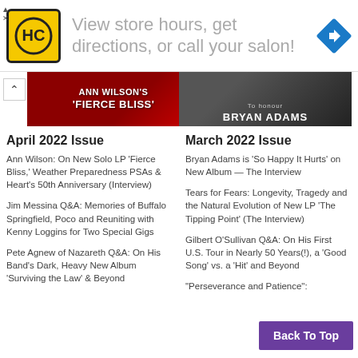[Figure (other): Advertisement banner: HC logo (yellow), text 'View store hours, get directions, or call your salon!', navigation arrow icon]
[Figure (photo): Cover image for April 2022 Issue showing Ann Wilson's 'Fierce Bliss' text on red background]
[Figure (photo): Cover image for March 2022 Issue showing Bryan Adams text on dark background]
April 2022 Issue
March 2022 Issue
Ann Wilson: On New Solo LP 'Fierce Bliss,' Weather Preparedness PSAs & Heart's 50th Anniversary (Interview)
Bryan Adams is 'So Happy It Hurts' on New Album — The Interview
Jim Messina Q&A: Memories of Buffalo Springfield, Poco and Reuniting with Kenny Loggins for Two Special Gigs
Tears for Fears: Longevity, Tragedy and the Natural Evolution of New LP 'The Tipping Point' (The Interview)
Pete Agnew of Nazareth Q&A: On His Band's Dark, Heavy New Album 'Surviving the Law' & Beyond
Gilbert O'Sullivan Q&A: On His First U.S. Tour in Nearly 50 Years(!), a 'Good Song' vs. a 'Hit' and Beyond
"Perseverance and Patience":
Back To Top